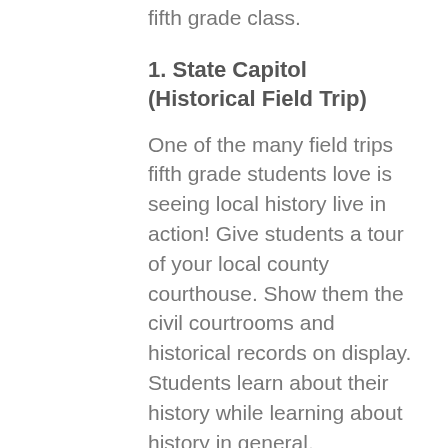fifth grade class.
1. State Capitol (Historical Field Trip)
One of the many field trips fifth grade students love is seeing local history live in action! Give students a tour of your local county courthouse. Show them the civil courtrooms and historical records on display. Students learn about their history while learning about history in general.
Ask kids what they think the state capitol building looks like,